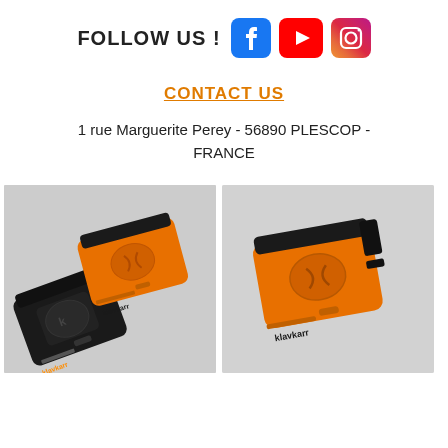[Figure (infographic): FOLLOW US! text with Facebook, YouTube, and Instagram social media icons]
CONTACT US
1 rue Marguerite Perey - 56890 PLESCOP - FRANCE
[Figure (photo): Two Klavkarr OBD devices: one black and one orange, side by side on a light gray background]
[Figure (photo): Single orange Klavkarr OBD device on a light gray background]